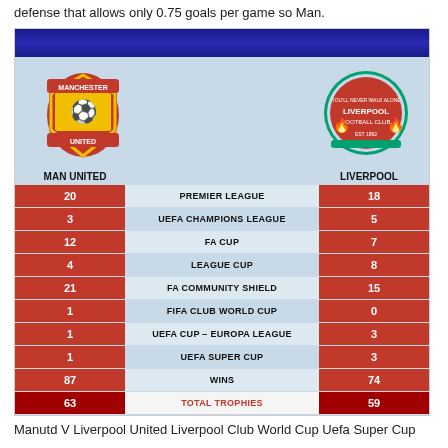defense that allows only 0.75 goals per game so Man.
[Figure (infographic): Side-by-side trophy comparison infographic for Manchester United vs Liverpool, showing a table of trophies won by each club across various competitions.]
Manutd V Liverpool United Liverpool Club World Cup Uefa Super Cup
Chelseas 1-0 defeat to Arsenal on Wednesday was in a word